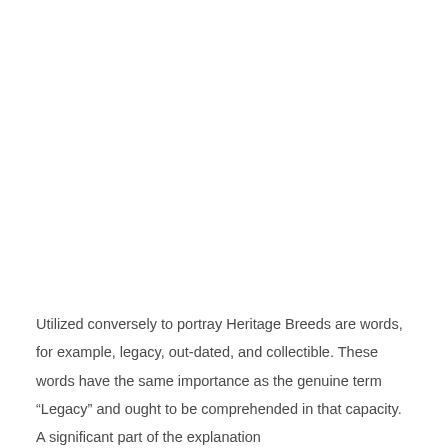Utilized conversely to portray Heritage Breeds are words, for example, legacy, out-dated, and collectible. These words have the same importance as the genuine term “Legacy” and ought to be comprehended in that capacity. A significant part of the explanation